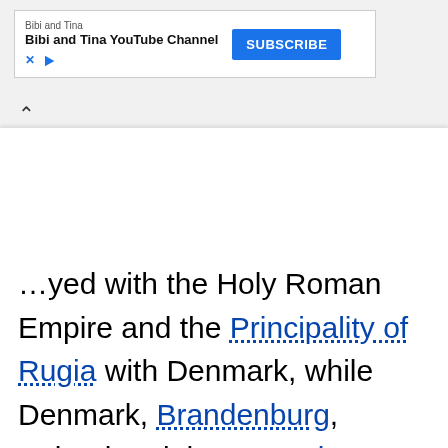[Figure (screenshot): YouTube channel advertisement banner for 'Bibi and Tina' with a blue Subscribe button and ad icons]
…yed with the Holy Roman Empire and the Principality of Rugia with Denmark, while Denmark, Brandenburg, Poland and the Teutonic Knights struggled for control in Samboride Pomerelia.[18][19][20] The Teutonic Knights succeeded in annexing Pomerelia to their monastic state in the early 14th century. Meanwhile, the Ostsiedlung started to turn Pomerania into a German-settled area; the